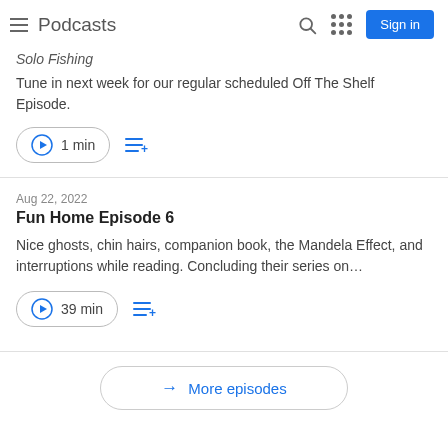Podcasts | Sign in
Tune in next week for our regular scheduled Off The Shelf Episode.
1 min
Aug 22, 2022
Fun Home Episode 6
Nice ghosts, chin hairs, companion book, the Mandela Effect, and interruptions while reading. Concluding their series on…
39 min
More episodes